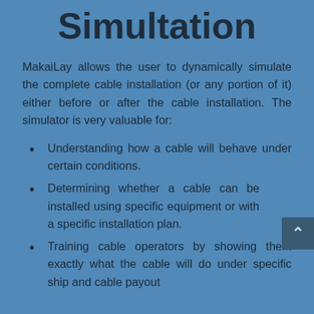Simultation
MakaiLay allows the user to dynamically simulate the complete cable installation (or any portion of it) either before or after the cable installation. The simulator is very valuable for:
Understanding how a cable will behave under certain conditions.
Determining whether a cable can be installed using specific equipment or with a specific installation plan.
Training cable operators by showing them exactly what the cable will do under specific ship and cable payout